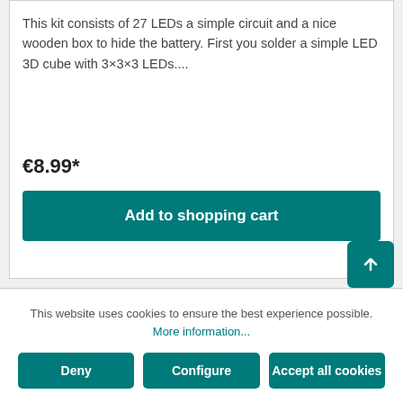This kit consists of 27 LEDs a simple circuit and a nice wooden box to hide the battery. First you solder a simple LED 3D cube with 3×3×3 LEDs....
€8.99*
Add to shopping cart
This website uses cookies to ensure the best experience possible. More information...
Deny
Configure
Accept all cookies